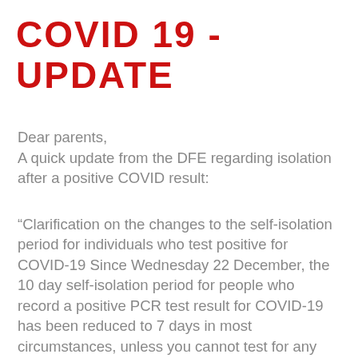COVID 19 - UPDATE
Dear parents,
A quick update from the DFE regarding isolation after a positive COVID result:
“Clarification on the changes to the self-isolation period for individuals who test positive for COVID-19 Since Wednesday 22 December, the 10 day self-isolation period for people who record a positive PCR test result for COVID-19 has been reduced to 7 days in most circumstances, unless you cannot test for any reason.
Individuals may now take LFD tests on day 6 and day